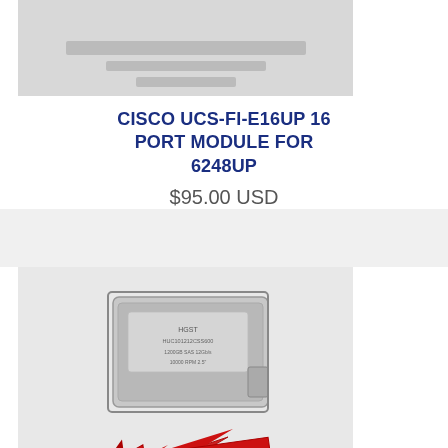[Figure (photo): Partially visible product image of Cisco UCS-FI-E16UP module (top cropped)]
CISCO UCS-FI-E16UP 16 PORT MODULE FOR 6248UP
$95.00 USD
[Figure (photo): Photo of Cisco UCS-HD1T7K12G 1TB 7.2K 12G SAS 2.5" HDD hard drive with red ALTATECH logo arrow]
CISCO UCS-HD1T7K12G 1TB 7.2K 12G SAS 2.5" HDD
$95.00 USD